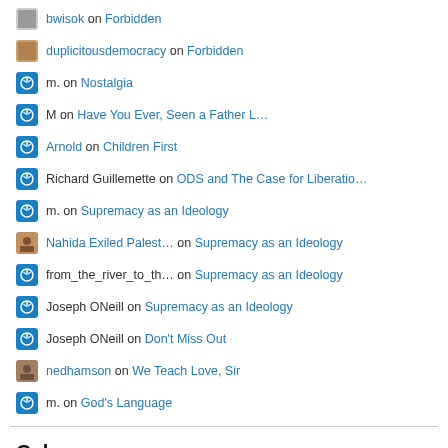bwisok on Forbidden
duplicitousdemocracy on Forbidden
m. on Nostalgia
M on Have You Ever, Seen a Father L…
Arnold on Children First
Richard Guillemette on ODS and The Case for Liberatio…
m. on Supremacy as an Ideology
Nahida Exiled Palest… on Supremacy as an Ideology
from_the_river_to_th… on Supremacy as an Ideology
Joseph ONeill on Supremacy as an Ideology
Joseph ONeill on Don't Miss Out
nedhamson on We Teach Love, Sir
m. on God's Language
Galary
[Figure (photo): Three gallery photos: a woman in white religious veil in dark setting, a person in white hat near yellow flowers, and a light sky/landscape scene.]